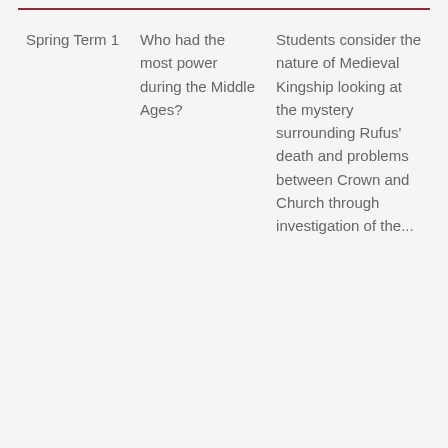| Spring Term 1 | Who had the most power during the Middle Ages? | Students consider the nature of Medieval Kingship looking at the mystery surrounding Rufus' death and problems between Crown and Church through investigation of the... |